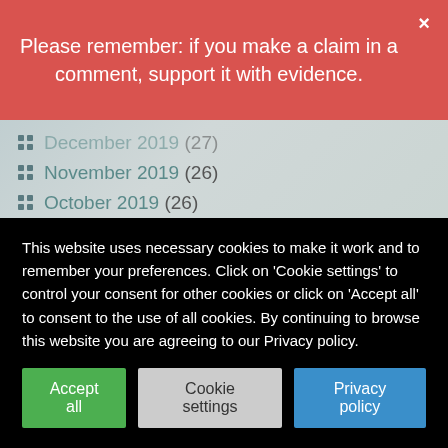Please remember: if you make a claim in a comment, support it with evidence.
December 2019 (27)
November 2019 (26)
October 2019 (26)
September 2019 (25)
August 2019 (26)
July 2019 (27)
June 2019 (25)
May 2019 (30)
April 2019 (25)
March 2019 (24)
This website uses necessary cookies to make it work and to remember your preferences. Click on 'Cookie settings' to control your consent for other cookies or click on 'Accept all' to consent to the use of all cookies. By continuing to browse this website you are agreeing to our Privacy policy.